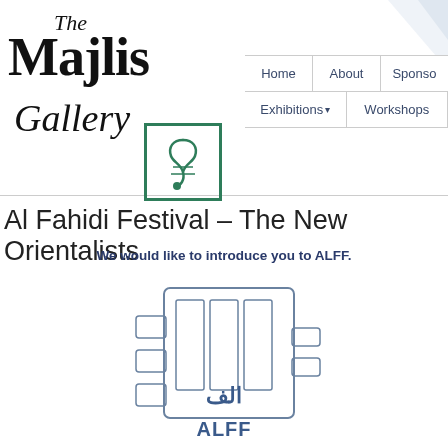[Figure (logo): The Majlis Gallery logo with decorative script text and green bordered icon with stylized symbol]
Home | About | Sponso | Exhibitions | Workshops
Al Fahidi Festival – The New Orientalists
We would like to introduce you to ALFF.
[Figure (illustration): Hand-drawn illustration of a raised fist with vertical rectangular panels, with Arabic text and ALFF lettering below]